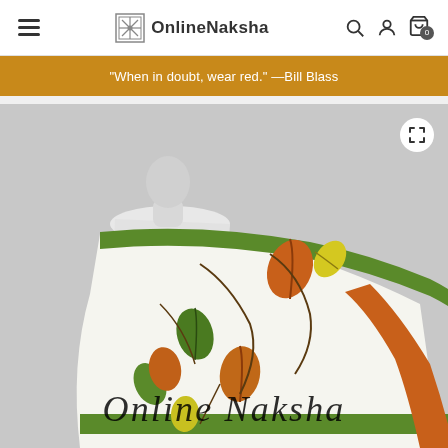OnlineNaksha — navigation bar with hamburger menu, logo, search, account, and cart icons
"When in doubt, wear red." —Bill Blass
[Figure (photo): A mannequin draped with a white saree featuring hand-painted leaf and floral motifs in orange, green, and yellow, with green and orange borders. The text 'Online Naksha' is overlaid at the bottom as a watermark.]